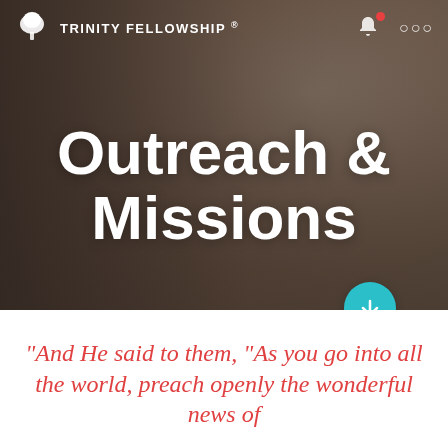TRINITY FELLOWSHIP ®
[Figure (photo): People standing at a doorway, helping a child; dark overlay on photo background]
Outreach & Missions
"And He said to them, "As you go into all the world, preach openly the wonderful news of